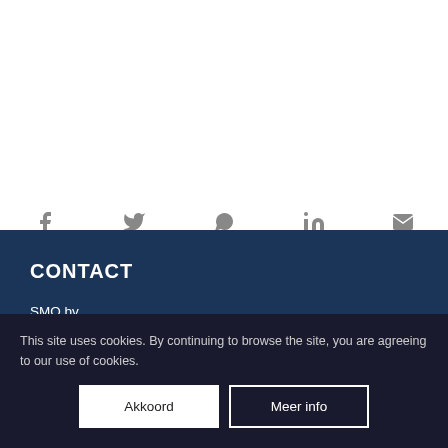[Figure (infographic): Social media sharing icons: Facebook, Twitter, WhatsApp, LinkedIn, Email — displayed in a row as grey icons]
CONTACT
SMO bv
9900 Eeklo
België
+32 9 219 93 8...
This site uses cookies. By continuing to browse the site, you are agreeing to our use of cookies.